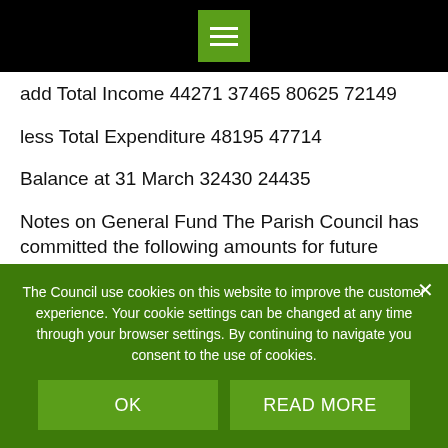Navigation menu header bar
add Total Income 44271 37465 80625 72149
less Total Expenditure 48195 47714
Balance at 31 March 32430 24435
Notes on General Fund The Parish Council has committed the following amounts for future projects and liabilities as follows:
Provision for purchase of Top Field 15000
The Council use cookies on this website to improve the customer experience. Your cookie settings can be changed at any time through your browser settings. By continuing to navigate you consent to the use of cookies.